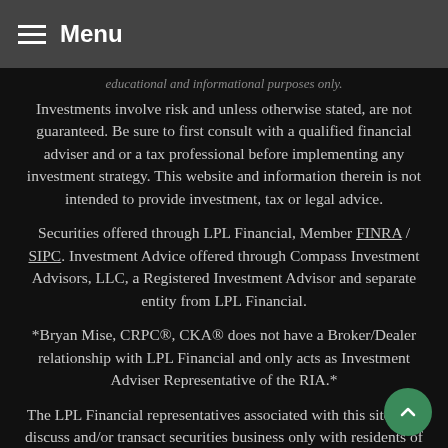Menu
educational and informational purposes only.
Investments involve risk and unless otherwise stated, are not guaranteed.  Be sure to first consult with a qualified financial adviser and or a tax professional before implementing any investment strategy.  This website and information therein is not intended to provide investment, tax or legal advice.
Securities offered through LPL Financial, Member FINRA / SIPC. Investment Advice offered through Compass Investment Advisors, LLC, a Registered Investment Advisor and separate entity from LPL Financial.
*Bryan Mise, CRPC®, CKA® does not have a Broker/Dealer relationship with LPL Financial and only acts as Investment Adviser Representative of the RIA.*
The LPL Financial representatives associated with this site may discuss and/or transact securities business only with residents of the following states; AL, CA, FL, GA, MS, NC, NJ, NY, RI, SC, TX.